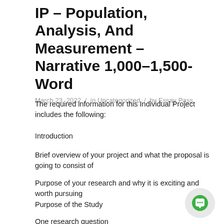IP – Population, Analysis, And Measurement – Narrative 1,000–1,500-Word
March 23, 2022 / in Uncategorized / by Essay Pass
The required information for this Individual Project includes the following:
Introduction
Brief overview of your project and what the proposal is going to consist of
Purpose of your research and why it is exciting and worth pursuing
Purpose of the Study
One research question
Hypothesis or statement of the problem regarding research question
Your rationale for selecting your proposed research methodology